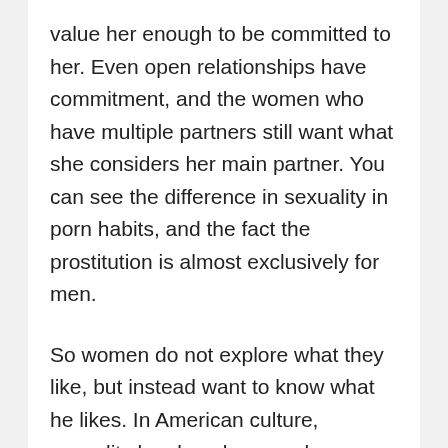value her enough to be committed to her. Even open relationships have commitment, and the women who have multiple partners still want what she considers her main partner. You can see the difference in sexuality in porn habits, and the fact the prostitution is almost exclusively for men.
So women do not explore what they like, but instead want to know what he likes. In American culture, sexuality has long been male dominated. For men to have sex was considered a crowning achievement, and for women – something to be embarrassed about. So the sexuality that embedded American culture was primarily male-written. So what we get is not what truly women want, but conditioning that women should want it